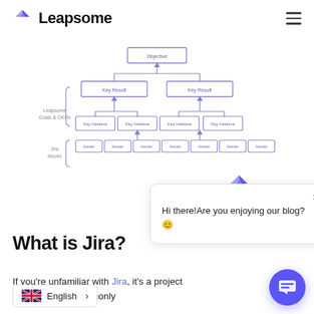Leapsome
[Figure (organizational-chart): Hierarchical diagram showing Objective at top, two Key Result nodes below, each with Key Initiatives beneath, and Jira Issues at the bottom level. Left side labels: 'Leapsome Goals & OKRs' (curly brace) and 'Jira Issues' (curly brace).]
[Figure (screenshot): Chat popup widget with Leapsome logo bird icon at top, close X button, text 'Hi there! Are you enjoying our blog? 😊']
What is Jira?
If you're unfamiliar with Jira, it's a project platform most commonly